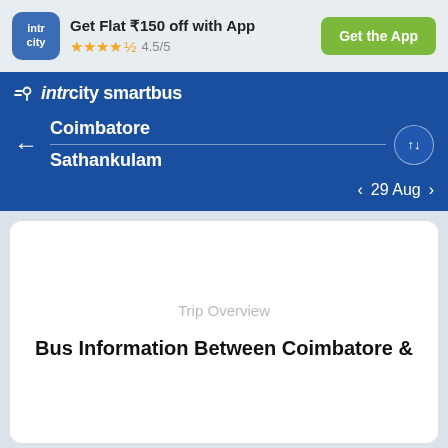[Figure (screenshot): IntrCity app logo — blue rounded square with 'intr city' in white text]
Get Flat ₹150 off with App
★★★★½ 4.5/5
Get the App
[Figure (logo): IntrCity SmartBus logo with pin/location icon]
← Coimbatore
Sathankulam
< 29 Aug >
Trip Overview
Bus Information Between Coimbatore &